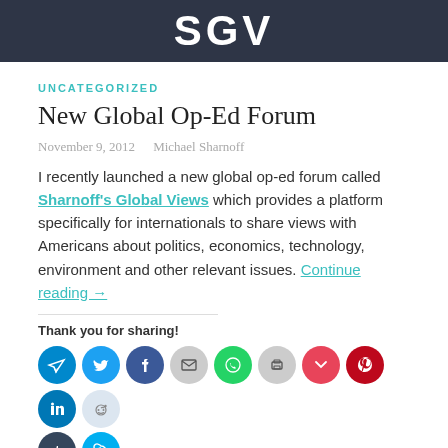[Figure (logo): Dark navy header banner with large white bold letters SGV]
UNCATEGORIZED
New Global Op-Ed Forum
November 9, 2012   Michael Sharnoff
I recently launched a new global op-ed forum called Sharnoff's Global Views which provides a platform specifically for internationals to share views with Americans about politics, economics, technology, environment and other relevant issues. Continue reading →
Thank you for sharing!
[Figure (infographic): Row of social sharing icon circles: Telegram, Twitter, Facebook, Email, WhatsApp, Print, Pocket, Pinterest, LinkedIn, Reddit, Tumblr, Skype]